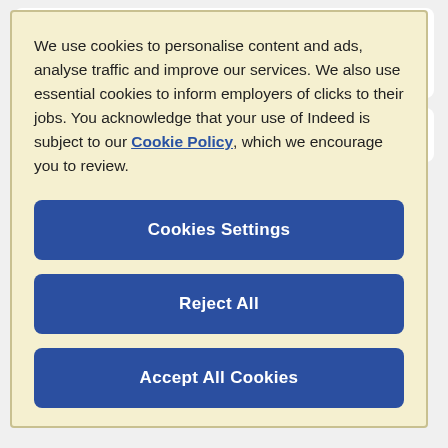£45,000 - £65,000 a year
27 days ago
QA Engineer (Back-End Test) – HP
We use cookies to personalise content and ads, analyse traffic and improve our services. We also use essential cookies to inform employers of clicks to their jobs. You acknowledge that your use of Indeed is subject to our Cookie Policy, which we encourage you to review.
Cookies Settings
Reject All
Accept All Cookies